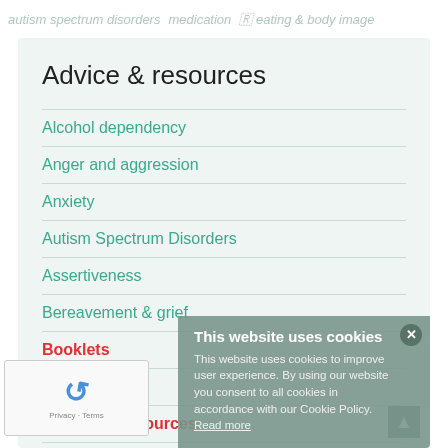autism spectrum disorders  medication  eating & body image
Advice & resources
Alcohol dependency
Anger and aggression
Anxiety
Autism Spectrum Disorders
Assertiveness
Bereavement & grief
Booklets
Chronic illness
COVID-19 resources
ression
aming
This website uses cookies
This website uses cookies to improve user experience. By using our website you consent to all cookies in accordance with our Cookie Policy. Read more